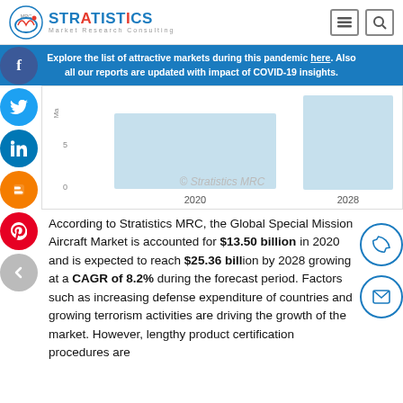Stratistics Market Research Consulting
Explore the list of attractive markets during this pandemic here. Also all our reports are updated with impact of COVID-19 insights.
[Figure (bar-chart): Special Mission Aircraft Market]
According to Stratistics MRC, the Global Special Mission Aircraft Market is accounted for $13.50 billion in 2020 and is expected to reach $25.36 billion by 2028 growing at a CAGR of 8.2% during the forecast period. Factors such as increasing defense expenditure of countries and growing terrorism activities are driving the growth of the market. However, lengthy product certification procedures are